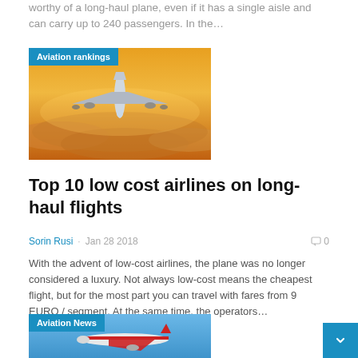worthy of a long-haul plane, even if it has a single aisle and can carry up to 240 passengers. In the…
[Figure (photo): Large commercial airplane flying over clouds at sunset with orange sky, viewed from above and behind. Tagged 'Aviation rankings'.]
Top 10 low cost airlines on long-haul flights
Sorin Rusi · Jan 28 2018   0
With the advent of low-cost airlines, the plane was no longer considered a luxury. Not always low-cost means the cheapest flight, but for the most part you can travel with fares from 9 EURO / segment. At the same time, the operators…
[Figure (photo): Red AirAsia aircraft in flight against a blue sky. Tagged 'Aviation News'.]